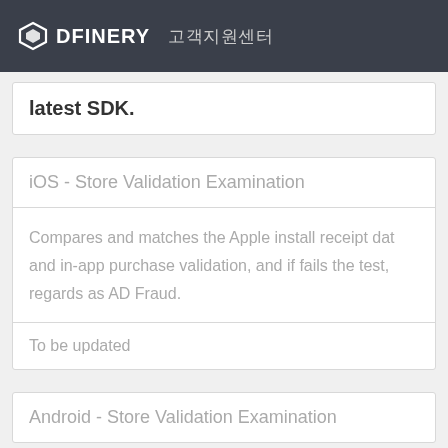DFINERY 고객지원센터
latest SDK.
iOS - Store Validation Examination
Compares and matches the Apple install receipt dat and in-app purchase validation, and if fails the test, regards as AD Fraud.
To be updated
Android - Store Validation Examination